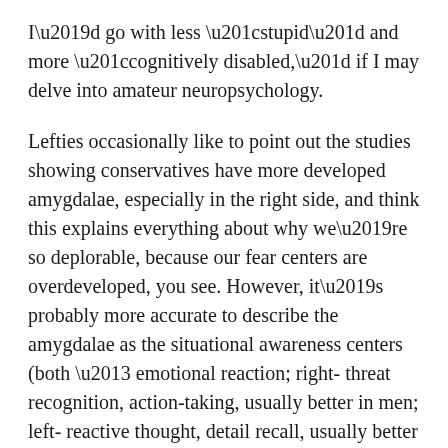I'd go with less “stupid” and more “cognitively disabled,” if I may delve into amateur neuropsychology.
Lefties occasionally like to point out the studies showing conservatives have more developed amygdalae, especially in the right side, and think this explains everything about why we’re so deplorable, because our fear centers are overdeveloped, you see. However, it’s probably more accurate to describe the amygdalae as the situational awareness centers (both – emotional reaction; right- threat recognition, action-taking, usually better in men; left- reactive thought, detail recall, usually better in women).
I would suggest that the Prog’s version of Cooper’s situational awareness scale goes simply White-Pink-Red. Not only can’t they handle